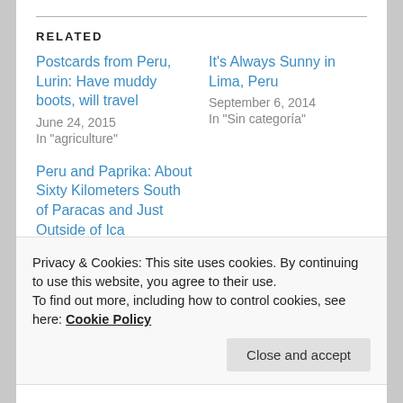RELATED
Postcards from Peru, Lurin: Have muddy boots, will travel
June 24, 2015
In "agriculture"
It's Always Sunny in Lima, Peru
September 6, 2014
In "Sin categoría"
Peru and Paprika: About Sixty Kilometers South of Paracas and Just Outside of Ica
June 7, 2015
In "agriculture"
Privacy & Cookies: This site uses cookies. By continuing to use this website, you agree to their use.
To find out more, including how to control cookies, see here: Cookie Policy